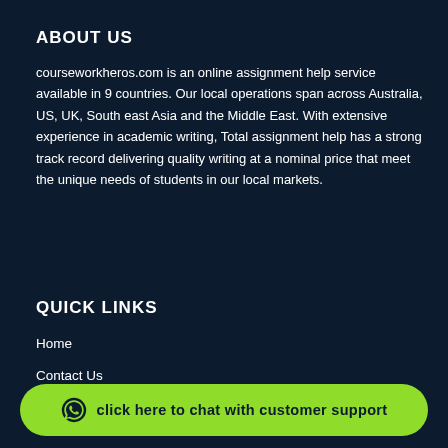ABOUT US
courseworkheros.com is an online assignment help service available in 9 countries. Our local operations span across Australia, US, UK, South east Asia and the Middle East. With extensive experience in academic writing, Total assignment help has a strong track record delivering quality writing at a nominal price that meet the unique needs of students in our local markets.
QUICK LINKS
Home
Contact Us
Services
click here to chat with customer support